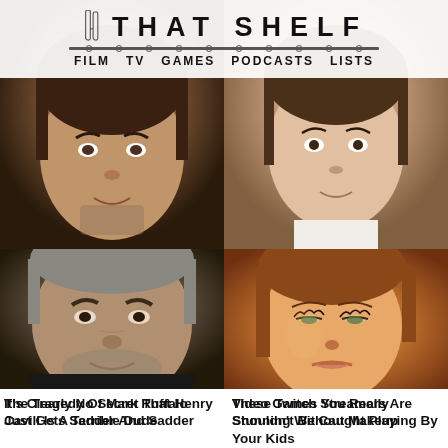[Figure (photo): Top-left photo: man's face (Henry Cavill reference)]
[Figure (photo): Top-right photo: woman's face (Twitch streamer reference)]
THATSHELF — FILM TV GAMES PODCASTS LISTS
It's Clearly No Secret That Henry Cavill Is A Terrible Dude
These Twitch Streamers Are Stunning Without Makeup
[Figure (photo): Bottom-left photo: man's face (Mark Ruffalo reference)]
[Figure (photo): Bottom-right photo: 3D animated woman's face (video games reference)]
The Tragedy Of Mark Ruffalo Just Gets Sadder And Sadder
Video Games You Really Shouldn't Be Caught Playing By Your Kids